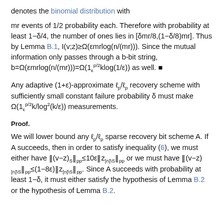denotes the binomial distribution with
mr events of 1/2 probability each. Therefore with probability at least 1−δ/4, the number of ones lies in [δmr/8,(1−δ/8)mr]. Thus by Lemma B.1, I(v;z)≥Ω(εmrlog(n/(mr))). Since the mutual information only passes through a b-bit string, b=Ω(εmrlog(n/(mr)))=Ω(1ε^{p/2}klog(1/ε)) as well. ■
Any adaptive (1+ε)-approximate ℓ_p/ℓ_p recovery scheme with sufficiently small constant failure probability δ must make Ω(1ε^{p/2}k/log^2(k/ε)) measurements.
Proof.
We will lower bound any ℓ_p/ℓ_p sparse recovery bit scheme A. If A succeeds, then in order to satisfy inequality (6), we must either have ‖(v−z)_S‖_pp≤10ε‖z_{[n]\S}‖_pp or we must have ‖(v−z)_{[n]\S}‖_pp≤(1−8ε)‖z_{[n]\S}‖_pp. Since A succeeds with probability at least 1−δ, it must either satisfy the hypothesis of Lemma B.2 or the hypothesis of Lemma B.2.